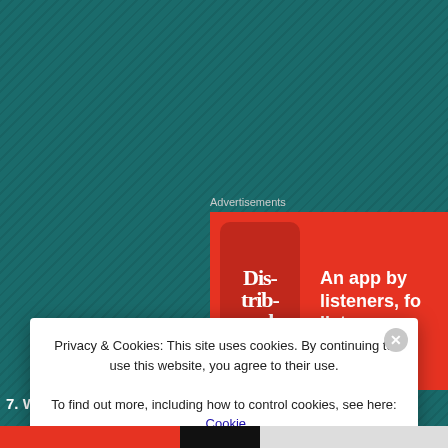Advertisements
[Figure (screenshot): Advertisement banner showing a smartphone with 'Distributed' app and text 'An app by listeners, for listeners']
7. What's for dinner today?
i will be starting the Shepherd's Pie preparation and then tbV may finish it. She out to watch Antman with my buddy Reegs but in between those i believe Shep be good.
8. W
De
Privacy & Cookies: This site uses cookies. By continuing to use this website, you agree to their use.
To find out more, including how to control cookies, see here: Cookie Policy
Close and accept